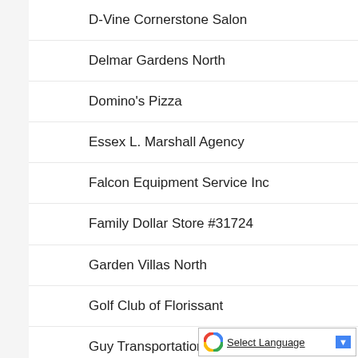D-Vine Cornerstone Salon
Delmar Gardens North
Domino's Pizza
Essex L. Marshall Agency
Falcon Equipment Service Inc
Family Dollar Store #31724
Garden Villas North
Golf Club of Florissant
Guy Transportation LLc/DBA Black Jack Automotive Center
Haute Events
[Figure (screenshot): Google Translate 'Select Language' widget with dropdown arrow]